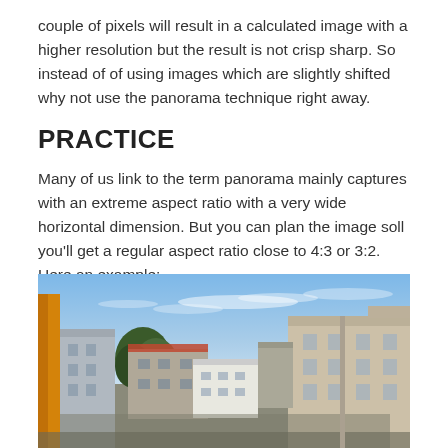couple of pixels will result in a calculated image with a higher resolution but the result is not crisp sharp. So instead of of using images which are slightly shifted why not use the panorama technique right away.
PRACTICE
Many of us link to the term panorama mainly captures with an extreme aspect ratio with a very wide horizontal dimension. But you can plan the image soll you'll get a regular aspect ratio close to 4:3 or 3:2. Here an example:
[Figure (photo): Panoramic photograph of urban rooftops with buildings of various styles, trees in the center, and a blue sky with light clouds. A yellow-orange building element is visible on the left edge.]